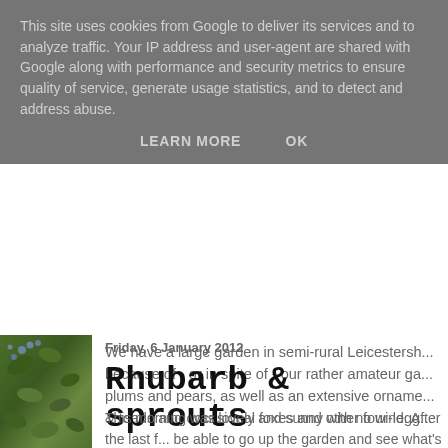This site uses cookies from Google to deliver its services and to analyze traffic. Your IP address and user-agent are shared with Google along with performance and security metrics to ensure quality of service, generate usage statistics, and to detect and address abuse.
LEARN MORE   OK
[Figure (photo): Green garden foliage/plants photo strip on the left sidebar]
We have a large garden in semi-rural Leicestershire because of - or in spite of - our rather amateur ga... plums and pears, as well as an extensive orname... & toads and occasional foxes and other four-legg...
Friday, 6 January 2012
Rhubarb & sprouts
This morning was lovely and sunny with no wind. After the last f... be able to go up the garden and see what's going on. It was sti... frost and leaves edged with white.